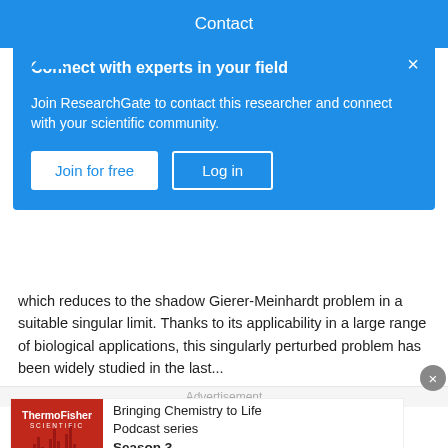Contact
Connect with experts in your field
Join ResearchGate to contact this researcher and connect with your scientific community.
Join for free
Log in
which reduces to the shadow Gierer-Meinhardt problem in a suitable singular limit. Thanks to its applicability in a large range of biological applications, this singularly perturbed problem has been widely studied in the last...
View
Advertisement
[Figure (illustration): ThermoFisher Scientific advertisement banner: Bringing Chemistry to Life Podcast series Season 3, with Listen now button and thermo scientific logo]